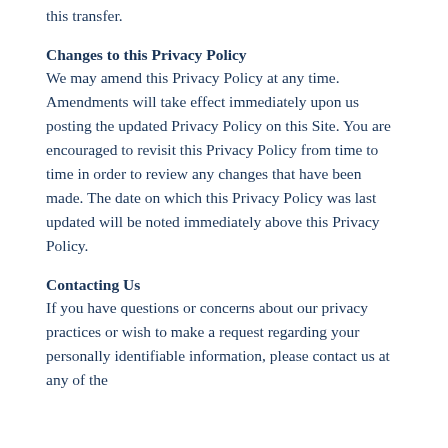this transfer.
Changes to this Privacy Policy
We may amend this Privacy Policy at any time. Amendments will take effect immediately upon us posting the updated Privacy Policy on this Site. You are encouraged to revisit this Privacy Policy from time to time in order to review any changes that have been made. The date on which this Privacy Policy was last updated will be noted immediately above this Privacy Policy.
Contacting Us
If you have questions or concerns about our privacy practices or wish to make a request regarding your personally identifiable information, please contact us at any of the